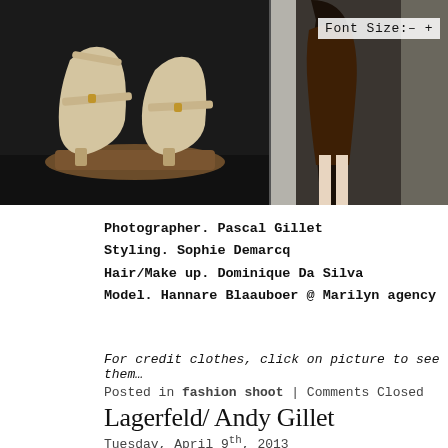[Figure (photo): Fashion photo: close-up of high-heeled platform shoes on a model (left), and partial view of a model in a dark bodysuit (right). Font Size control overlay visible top right.]
Photographer. Pascal Gillet
Styling. Sophie Demarcq
Hair/Make up. Dominique Da Silva
Model. Hannare Blaauboer @ Marilyn agency
For credit clothes, click on picture to see them…
Posted in fashion shoot | Comments Closed
Lagerfeld/ Andy Gillet
Tuesday, April 9th, 2013
[Figure (photo): Black and white photo at the bottom of the page showing a person's head/hair, partially cropped.]